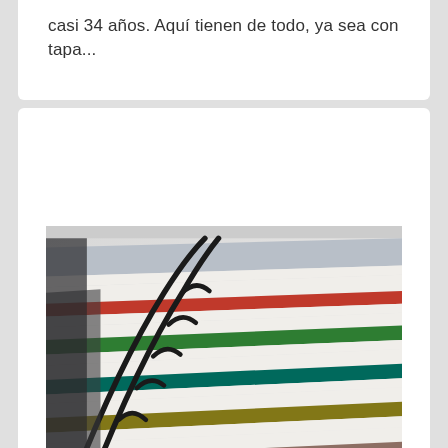casi 34 años. Aquí tienen de todo, ya sea con tapa...
[Figure (photo): Close-up photo of a stack of books with colorful spines (red, green, teal, olive) viewed through a magnifying glass or ring binder, showing many books stacked diagonally.]
Watermark Books & ...
[Figure (other): Star rating: 4 out of 5 stars (yellow/gold stars with last star partially filled)]